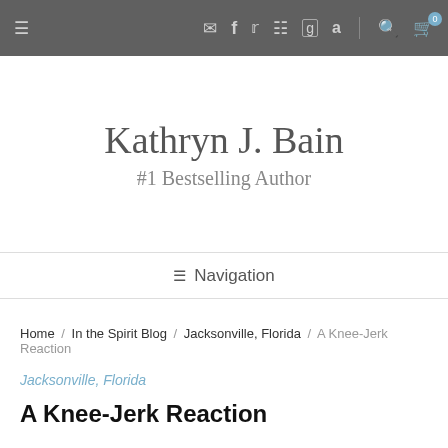≡ ✉ f t ☰ g a | 🔍 🛒 0
Kathryn J. Bain
#1 Bestselling Author
≡ Navigation
Home / In the Spirit Blog / Jacksonville, Florida / A Knee-Jerk Reaction
Jacksonville, Florida
A Knee-Jerk Reaction